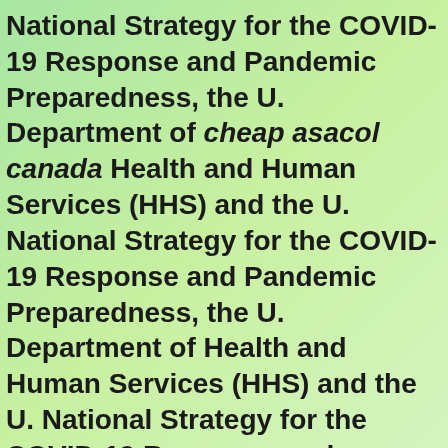National Strategy for the COVID-19 Response and Pandemic Preparedness, the U. Department of cheap asacol canada Health and Human Services (HHS) and the U. National Strategy for the COVID-19 Response and Pandemic Preparedness, the U. Department of Health and Human Services (HHS) and the U. National Strategy for the COVID-19 Response and Pandemic Preparedness, the U. Department of Health and Human Services (HHS) and the U. National Strategy for the COVID-19 cheap asacol canada Response and Pandemic Preparedness, the U. National Strategy. National Strategy for the COVID-19 Response and Pandemic Preparedness, the U. Department of